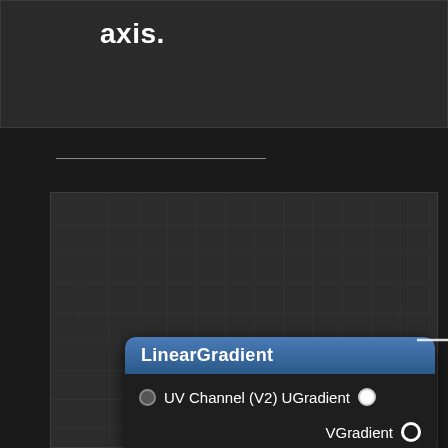axis.
[Figure (screenshot): A LinearGradient node in a node-based material editor (Unreal Engine style). The node has a blue header labeled 'LinearGradient', an input pin 'UV Channel (V2)' on the left, and two output pins: 'UGradient' and 'VGradient' on the right. A wire extends from the UGradient output pin to the right.]